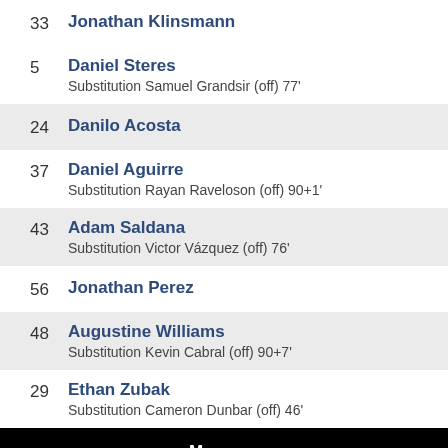33 Jonathan Klinsmann
5 Daniel Steres
Substitution Samuel Grandsir (off) 77'
24 Danilo Acosta
37 Daniel Aguirre
Substitution Rayan Raveloson (off) 90+1'
43 Adam Saldana
Substitution Victor Vázquez (off) 76'
56 Jonathan Perez
48 Augustine Williams
Substitution Kevin Cabral (off) 90+7'
29 Ethan Zubak
Substitution Cameron Dunbar (off) 46'
Manager